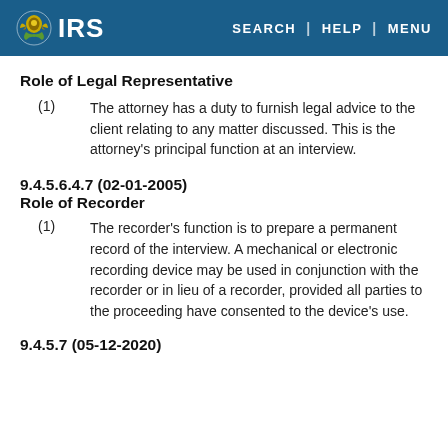IRS | SEARCH | HELP | MENU
Role of Legal Representative
(1) The attorney has a duty to furnish legal advice to the client relating to any matter discussed. This is the attorney's principal function at an interview.
9.4.5.6.4.7 (02-01-2005)
Role of Recorder
(1) The recorder's function is to prepare a permanent record of the interview. A mechanical or electronic recording device may be used in conjunction with the recorder or in lieu of a recorder, provided all parties to the proceeding have consented to the device's use.
9.4.5.7 (05-12-2020)